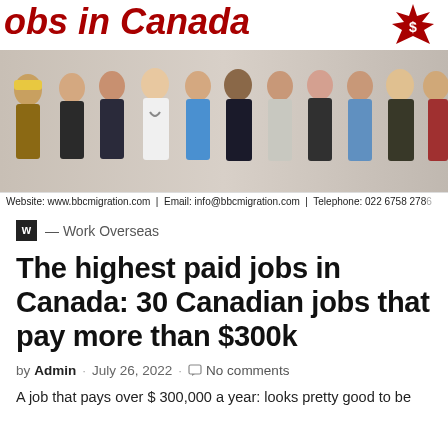[Figure (photo): Banner image showing 'jobs in Canada' text in bold red italic with a maple leaf logo, followed by a group photo of diverse professionals in various occupations (construction worker, businesspeople, doctor, nurse, etc.), with a website bar below reading: Website: www.bbcmigration.com | Email: info@bbcmigration.com | Telephone: 022 6758 278...]
w — Work Overseas
The highest paid jobs in Canada: 30 Canadian jobs that pay more than $300k
by Admin · July 26, 2022 · No comments
A job that pays over $ 300,000 a year: looks pretty good to be